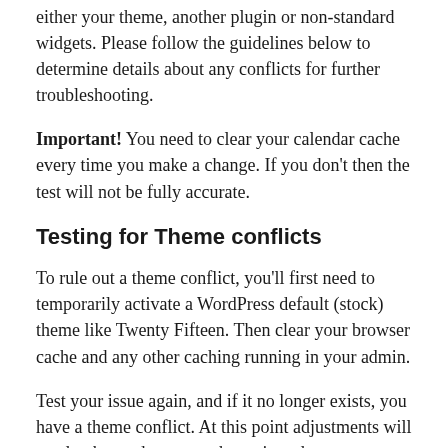either your theme, another plugin or non-standard widgets. Please follow the guidelines below to determine details about any conflicts for further troubleshooting.
Important! You need to clear your calendar cache every time you make a change. If you don't then the test will not be fully accurate.
Testing for Theme conflicts
To rule out a theme conflict, you'll first need to temporarily activate a WordPress default (stock) theme like Twenty Fifteen. Then clear your browser cache and any other caching running in your admin.
Test your issue again, and if it no longer exists, you have a theme conflict. At this point adjustments will need to be made to your theme in order to get our plugin to work with